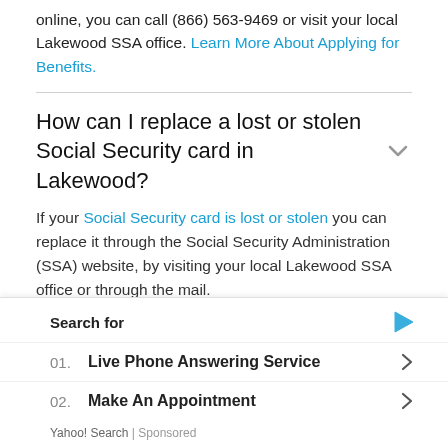online, you can call (866) 563-9469 or visit your local Lakewood SSA office. Learn More About Applying for Benefits.
How can I replace a lost or stolen Social Security card in Lakewood?
If your Social Security card is lost or stolen you can replace it through the Social Security Administration (SSA) website, by visiting your local Lakewood SSA office or through the mail.
How do I protect myself from Social Security scams?
Search for
01. Live Phone Answering Service
02. Make An Appointment
Yahoo! Search | Sponsored